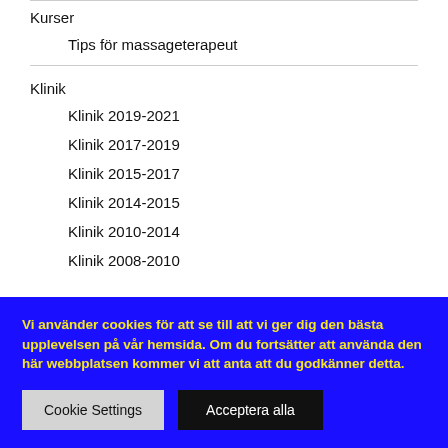Kurser
Tips för massageterapeut
Klinik
Klinik 2019-2021
Klinik 2017-2019
Klinik 2015-2017
Klinik 2014-2015
Klinik 2010-2014
Klinik 2008-2010
Vi använder cookies för att se till att vi ger dig den bästa upplevelsen på vår hemsida. Om du fortsätter att använda den här webbplatsen kommer vi att anta att du godkänner detta.